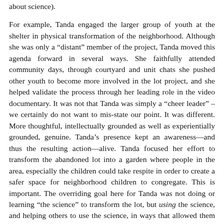about science).
For example, Tanda engaged the larger group of youth at the shelter in physical transformation of the neighborhood. Although she was only a “distant” member of the project, Tanda moved this agenda forward in several ways. She faithfully attended community days, through courtyard and unit chats she pushed other youth to become more involved in the lot project, and she helped validate the process through her leading role in the video documentary. It was not that Tanda was simply a “cheer leader” – we certainly do not want to mis-state our point. It was different. More thoughtful, intellectually grounded as well as experientially grounded, genuine. Tanda’s presence kept an awareness—and thus the resulting action—alive. Tanda focused her effort to transform the abandoned lot into a garden where people in the area, especially the children could take respite in order to create a safer space for neighborhood children to congregate. This is important. The overriding goal here for Tanda was not doing or learning “the science” to transform the lot, but using the science, and helping others to use the science, in ways that allowed them to make the physical surroundings safer and more accessible to the children in her community. Embedded within this idea was that Tanda had to learn enough about science to accomplish these tasks.
Tanda also engaged the larger group in social transformation. Her impromptu courtyard conversations with other teens and the video